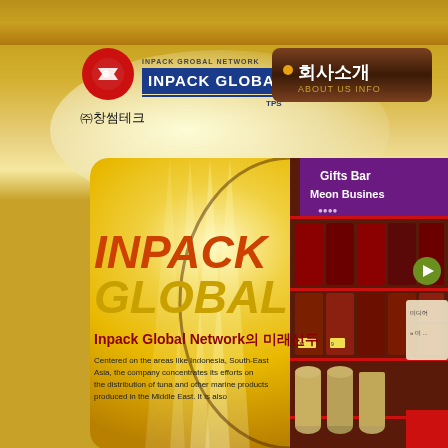[Figure (screenshot): Inpack Global Network website screenshot showing logo, navigation bar with Korean '회사소개 / ABOUT US INFO' button, golden background with cloud imagery, main banner card with 'INPACK GLOBAL' title in large italic text, subtitle 'Inpack Global Network의 미래선두', body text about the company's focus on tuna and marine products distribution in Indonesia, South-East Asia and Middle East, and a product shelf photo on the right side.]